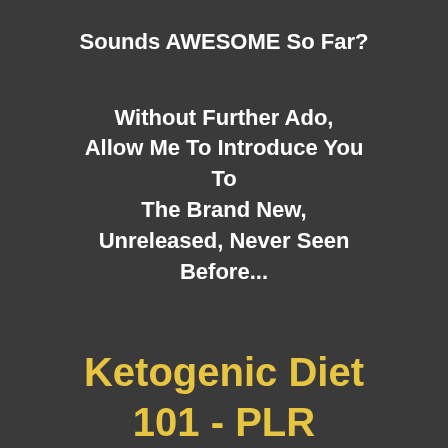Sounds AWESOME So Far?
Without Further Ado, Allow Me To Introduce You To The Brand New, Unreleased, Never Seen Before...
Ketogenic Diet 101 - PLR